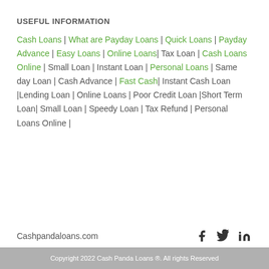USEFUL INFORMATION
Cash Loans | What are Payday Loans | Quick Loans | Payday Advance | Easy Loans | Online Loans| Tax Loan | Cash Loans Online | Small Loan | Instant Loan | Personal Loans | Same day Loan | Cash Advance | Fast Cash| Instant Cash Loan |Lending Loan | Online Loans | Poor Credit Loan |Short Term Loan| Small Loan | Speedy Loan | Tax Refund | Personal Loans Online |
Cashpandaloans.com
Copyright 2022 Cash Panda Loans ®. All rights Reserved